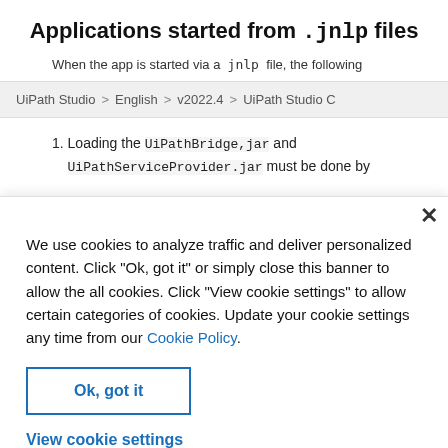Applications started from .jnlp files
When the app is started via a .jnlp file, the following
UiPath Studio  >  English  >  v2022.4  >  UiPath Studio C
1. Loading the UiPathBridge,jar and UiPathServiceProvider.jar must be done by
We use cookies to analyze traffic and deliver personalized content. Click "Ok, got it" or simply close this banner to allow the all cookies. Click "View cookie settings" to allow certain categories of cookies. Update your cookie settings any time from our Cookie Policy.
Ok, got it
View cookie settings